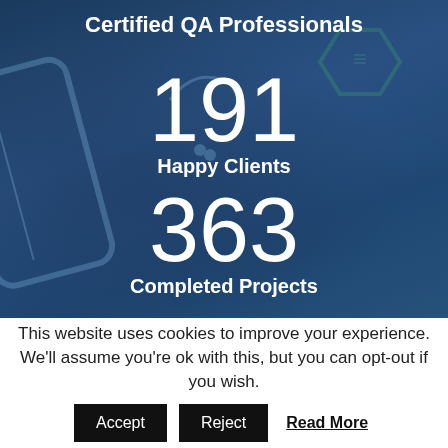Certified QA Professionals
191
Happy Clients
363
Completed Projects
This website uses cookies to improve your experience. We'll assume you're ok with this, but you can opt-out if you wish.
Accept
Reject
Read More